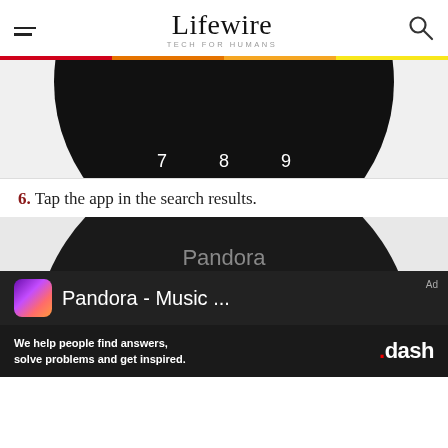Lifewire — TECH FOR HUMANS
[Figure (screenshot): Screenshot of an on-screen circular keyboard showing keys 7, 8, 9 on top row and 0, EN(US) on second row, on a dark circular interface]
6. Tap the app in the search results.
[Figure (screenshot): Screenshot of a circular smartwatch interface showing 'Pandora' label and a search result row showing 'Pandora - Music ...' with app icon]
Ad — We help people find answers, solve problems and get inspired. .dash